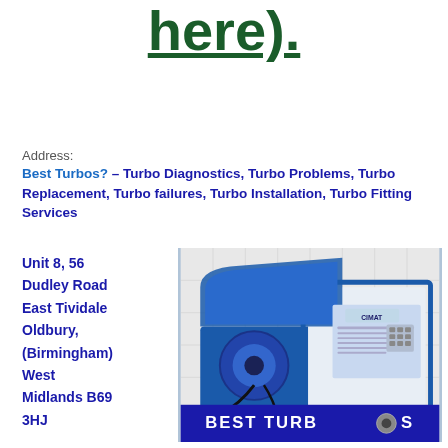here).
Address:
Best Turbos? – Turbo Diagnostics, Turbo Problems, Turbo Replacement, Turbo failures, Turbo Installation, Turbo Fitting Services
Unit 8, 56 Dudley Road East Tividale Oldbury, (Birmingham) West Midlands B69 3HJ
[Figure (photo): Photo of a blue and white industrial turbo diagnostic machine (CIMAT brand) with an open lid revealing internal components, and a computer monitor/control panel on the right side. A 'BEST TURBOS' logo banner appears at the bottom of the image.]